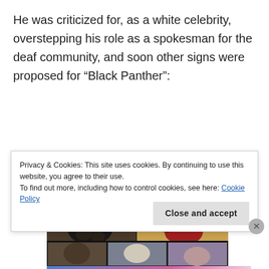He was criticized for, as a white celebrity, overstepping his role as a spokesman for the deaf community, and soon other signs were proposed for “Black Panther”:
[Figure (photo): A split-screen photo showing two people demonstrating sign language. Left panel shows a man in dark clothing, right panel shows a woman with braids in a red top making hand gestures. A bottom strip shows partial faces of additional people.]
Privacy & Cookies: This site uses cookies. By continuing to use this website, you agree to their use.
To find out more, including how to control cookies, see here: Cookie Policy
Close and accept